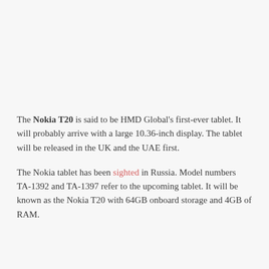The Nokia T20 is said to be HMD Global's first-ever tablet. It will probably arrive with a large 10.36-inch display. The tablet will be released in the UK and the UAE first.
The Nokia tablet has been sighted in Russia. Model numbers TA-1392 and TA-1397 refer to the upcoming tablet. It will be known as the Nokia T20 with 64GB onboard storage and 4GB of RAM.